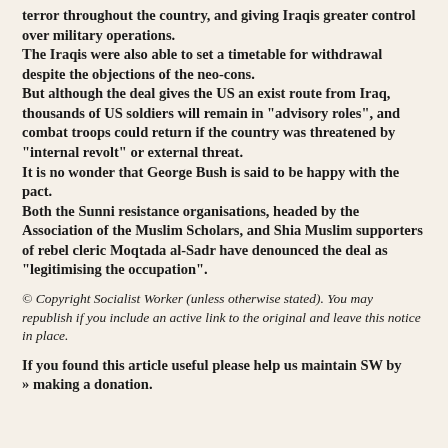terror throughout the country, and giving Iraqis greater control over military operations. The Iraqis were also able to set a timetable for withdrawal despite the objections of the neo-cons. But although the deal gives the US an exist route from Iraq, thousands of US soldiers will remain in "advisory roles", and combat troops could return if the country was threatened by "internal revolt" or external threat. It is no wonder that George Bush is said to be happy with the pact. Both the Sunni resistance organisations, headed by the Association of the Muslim Scholars, and Shia Muslim supporters of rebel cleric Moqtada al-Sadr have denounced the deal as "legitimising the occupation".
© Copyright Socialist Worker (unless otherwise stated). You may republish if you include an active link to the original and leave this notice in place.
If you found this article useful please help us maintain SW by » making a donation.